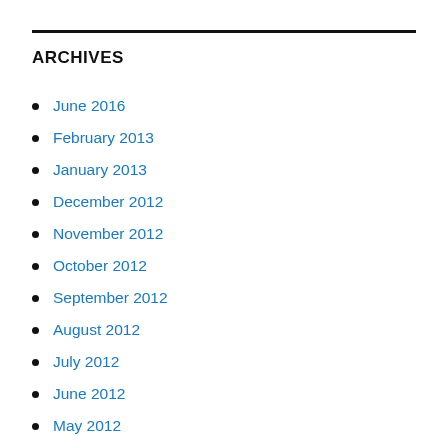ARCHIVES
June 2016
February 2013
January 2013
December 2012
November 2012
October 2012
September 2012
August 2012
July 2012
June 2012
May 2012
April 2012